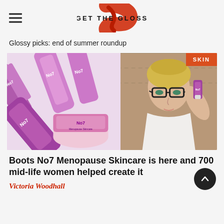GET THE GLOSS
Glossy picks: end of summer roundup
[Figure (photo): Left: No7 Menopause Skincare products (tubes and jar) on white background in pink/purple packaging. Right: Blonde woman with short hair and black glasses applying a No7 product to her face, wearing a white t-shirt. Orange 'SKIN' badge in top right corner.]
Boots No7 Menopause Skincare is here and 700 mid-life women helped create it
Victoria Woodhall